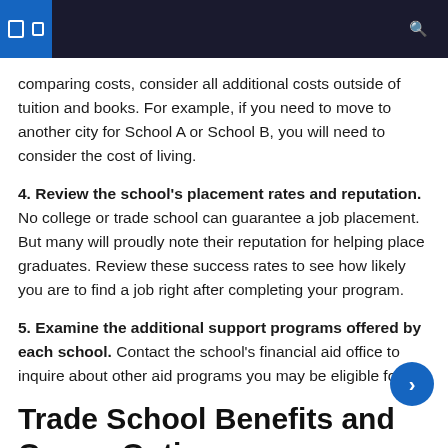Navigation header with menu icons and search
comparing costs, consider all additional costs outside of tuition and books. For example, if you need to move to another city for School A or School B, you will need to consider the cost of living.
4. Review the school's placement rates and reputation. No college or trade school can guarantee a job placement. But many will proudly note their reputation for helping place graduates. Review these success rates to see how likely you are to find a job right after completing your program.
5. Examine the additional support programs offered by each school. Contact the school's financial aid office to inquire about other aid programs you may be eligible for.
Trade School Benefits and Career Options